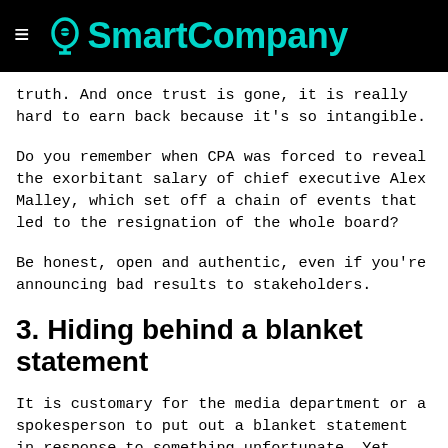SmartCompany
truth. And once trust is gone, it is really hard to earn back because it's so intangible.
Do you remember when CPA was forced to reveal the exorbitant salary of chief executive Alex Malley, which set off a chain of events that led to the resignation of the whole board?
Be honest, open and authentic, even if you're announcing bad results to stakeholders.
3. Hiding behind a blanket statement
It is customary for the media department or a spokesperson to put out a blanket statement in response to something unfortunate. Yet this often